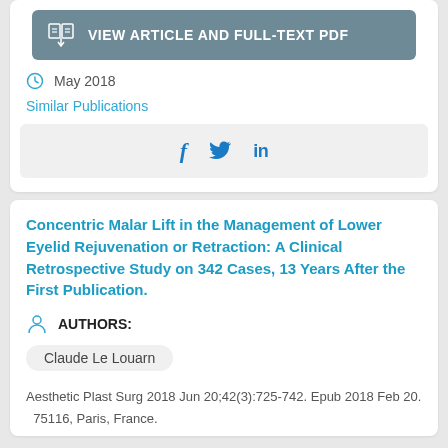[Figure (other): Button: VIEW ARTICLE AND FULL-TEXT PDF with book icon on grey background]
May 2018
Similar Publications
[Figure (other): Social sharing bar with Facebook, Twitter, LinkedIn icons]
Concentric Malar Lift in the Management of Lower Eyelid Rejuvenation or Retraction: A Clinical Retrospective Study on 342 Cases, 13 Years After the First Publication.
AUTHORS:
Claude Le Louarn
Aesthetic Plast Surg 2018 Jun 20;42(3):725-742. Epub 2018 Feb 20.
75116, Paris, France.